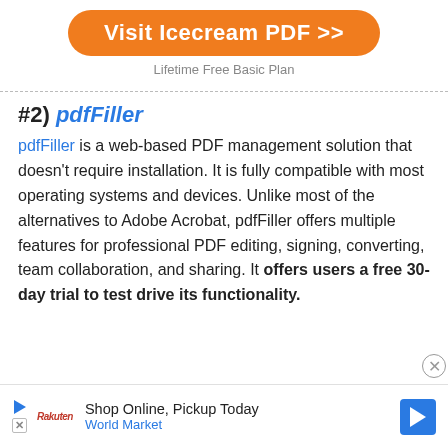[Figure (other): Orange rounded button with white bold text reading 'Visit Icecream PDF >>']
Lifetime Free Basic Plan
#2) pdfFiller
pdfFiller is a web-based PDF management solution that doesn't require installation. It is fully compatible with most operating systems and devices. Unlike most of the alternatives to Adobe Acrobat, pdfFiller offers multiple features for professional PDF editing, signing, converting, team collaboration, and sharing. It offers users a free 30-day trial to test drive its functionality.
[Figure (other): Advertisement banner: Shop Online, Pickup Today - World Market with navigation arrow icon]